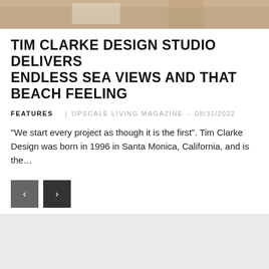[Figure (photo): Partial view of a beach house interior with warm tones, top strip image]
TIM CLARKE DESIGN STUDIO DELIVERS ENDLESS SEA VIEWS AND THAT BEACH FEELING
FEATURES   UPSCALE LIVING MAGAZINE - 08/31/2022
“We start every project as though it is the first”. Tim Clarke Design was born in 1996 in Santa Monica, California, and is the…